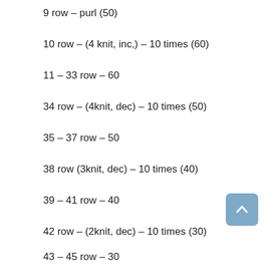9 row – purl (50)
10 row – (4 knit, inc,) – 10 times (60)
11 – 33 row – 60
34 row – (4knit, dec) – 10 times (50)
35 – 37 row – 50
38 row (3knit, dec) – 10 times (40)
39 – 41 row – 40
42 row – (2knit, dec) – 10 times (30)
43 – 45 row – 30